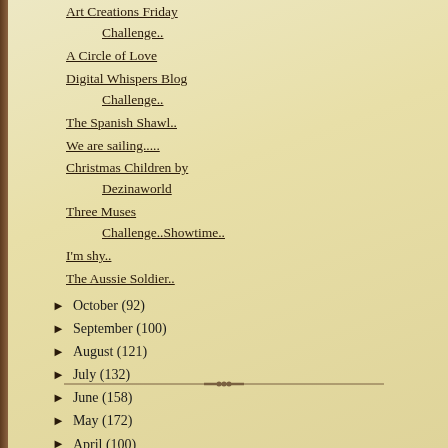Art Creations Friday Challenge..
A Circle of Love
Digital Whispers Blog Challenge..
The Spanish Shawl..
We are sailing.....
Christmas Children by Dezinaworld
Three Muses Challenge..Showtime..
I'm shy..
The Aussie Soldier..
► October (92)
► September (100)
► August (121)
► July (132)
► June (158)
► May (172)
► April (100)